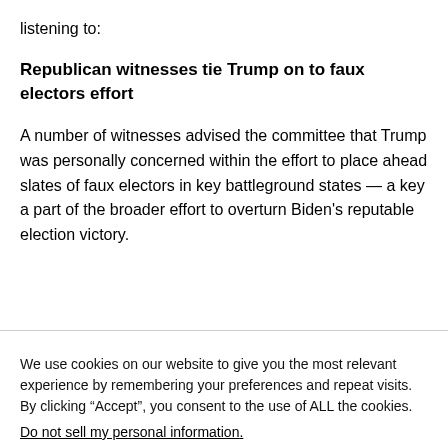listening to:
Republican witnesses tie Trump on to faux electors effort
A number of witnesses advised the committee that Trump was personally concerned within the effort to place ahead slates of faux electors in key battleground states — a key a part of the broader effort to overturn Biden's reputable election victory.
We use cookies on our website to give you the most relevant experience by remembering your preferences and repeat visits. By clicking “Accept”, you consent to the use of ALL the cookies.
Do not sell my personal information.